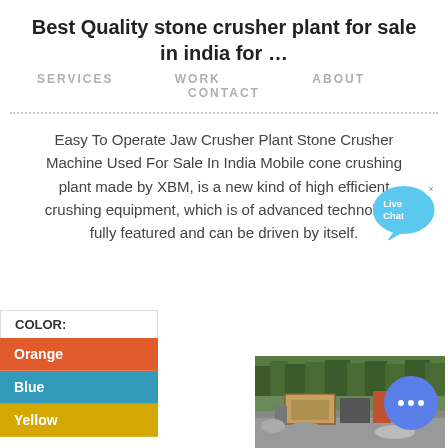Best Quality stone crusher plant for sale in india for …
SERVICES   WORK      ABOUT   CONTACT
Easy To Operate Jaw Crusher Plant Stone Crusher Machine Used For Sale In India Mobile cone crushing plant made by XBM, is a new kind of high efficient crushing equipment, which is of advanced technology, fully featured and can be driven by itself.
COLOR:
Orange
Blue
Yellow
[Figure (photo): Photo of a stone crusher plant machine outdoors with trees in background]